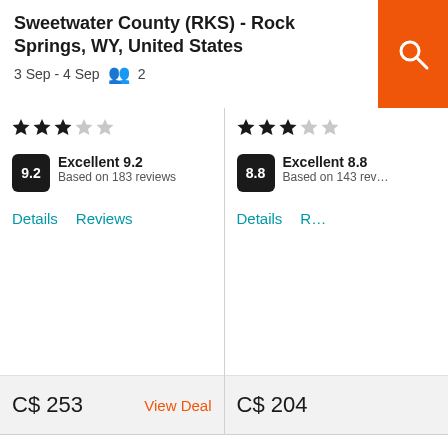Sweetwater County (RKS) - Rock Springs, WY, United States
3 Sep - 4 Sep   2
[Figure (screenshot): Two hotel listing cards side by side. Left card: 3-star rating, score 9.2 Excellent based on 183 reviews, C$ 253 with View Deal link. Right card: 3-star rating, score 8.8 Excellent based on 143 reviews, C$ 204.]
[Figure (infographic): Pagination dots row: 13 dots, first dot is orange (active), rest are grey.]
FAQs when booking a hotel near Rock Springs Sweetwater County airport